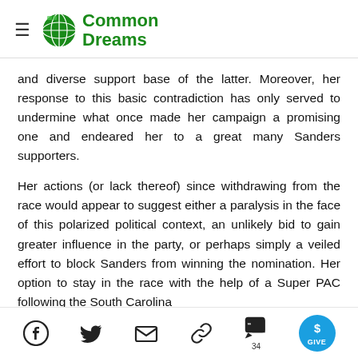Common Dreams
and diverse support base of the latter. Moreover, her response to this basic contradiction has only served to undermine what once made her campaign a promising one and endeared her to a great many Sanders supporters.
Her actions (or lack thereof) since withdrawing from the race would appear to suggest either a paralysis in the face of this polarized political context, an unlikely bid to gain greater influence in the party, or perhaps simply a veiled effort to block Sanders from winning the nomination. Her option to stay in the race with the help of a Super PAC following the South Carolina
[Figure (infographic): Social sharing toolbar with icons for Facebook, Twitter, Email, Link, Comments (34), and a GIVE button]